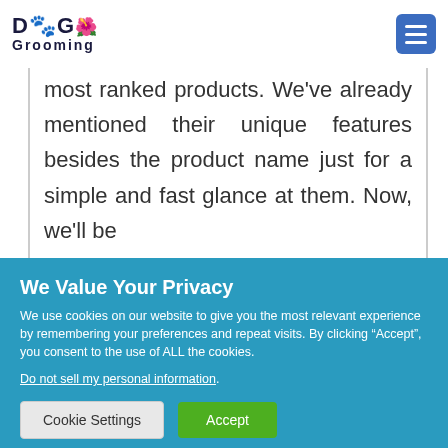Dog Grooming
most ranked products. We've already mentioned their unique features besides the product name just for a simple and fast glance at them. Now, we'll be
We Value Your Privacy
We use cookies on our website to give you the most relevant experience by remembering your preferences and repeat visits. By clicking “Accept”, you consent to the use of ALL the cookies.
Do not sell my personal information.
Cookie Settings  Accept